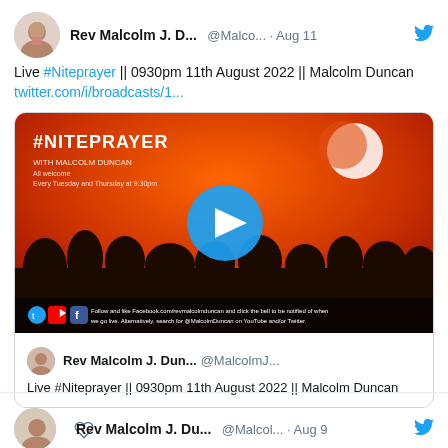[Figure (screenshot): Twitter/X screenshot of Rev Malcolm J. Duncan's tweet about Live #Niteprayer on Aug 11, with embedded video thumbnail and quoted tweet, plus a second tweet header for Aug 9]
Rev Malcolm J. D... @Malco... · Aug 11
Live #Niteprayer || 0930pm 11th August 2022 || Malcolm Duncan twitter.com/i/broadcasts/1...
[Figure (screenshot): Video thumbnail: #NITEPRAYER with Malcolm Duncan, orange sunset sky with silhouetted trees, blue circular play button in center, social media icons at bottom]
Rev Malcolm J. Dun... @MalcolmJ...
Live #Niteprayer || 0930pm 11th August 2022 || Malcolm Duncan
Rev Malcolm J. Du... @Malcol... · Aug 9